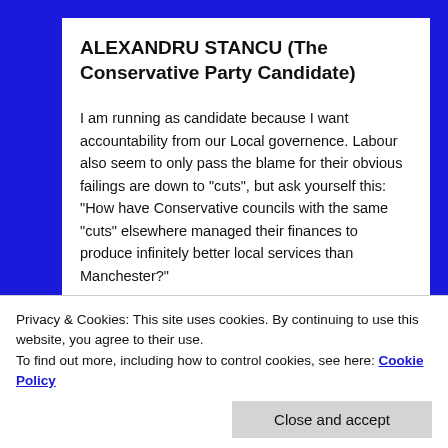ALEXANDRU STANCU (The Conservative Party Candidate)
I am running as candidate because I want accountability from our Local governence. Labour also seem to only pass the blame for their obvious failings are down to “cuts”, but ask yourself this: “How have Conservative councils with the same “cuts” elsewhere managed their finances to produce infinitely better local services than Manchester?”
The answer is that it is actually down to 25 years of
Privacy & Cookies: This site uses cookies. By continuing to use this website, you agree to their use.
To find out more, including how to control cookies, see here: Cookie Policy
racking crime. Manchester has one of the worst crime